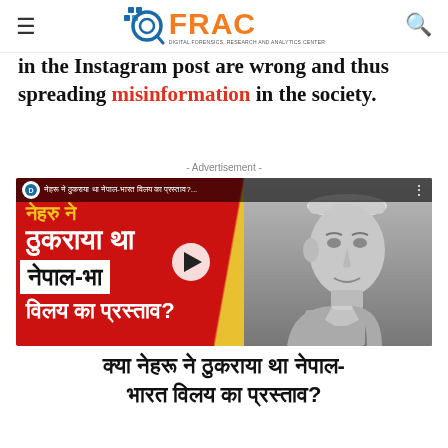DFRAC - Digital Forensics, Research and Analytics Center
In the Instagram post are wrong and thus spreading misinformation in the society.
- Advertisement -
[Figure (screenshot): Video thumbnail showing DFRAC logo, Hindi text reading 'ठुकराया था नेपाल-भारत विलय का प्रस्ताव?' with a black and white photo of Jawaharlal Nehru on the right side]
क्या नेहरू ने ठुकराया था नेपाल-भारत विलय का प्रस्ताव?